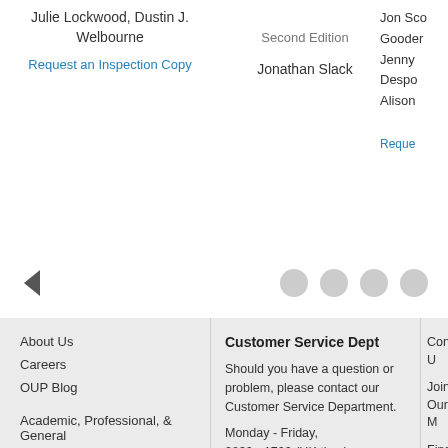Julie Lockwood, Dustin J. Welbourne
Request an Inspection Copy
Second Edition
Jonathan Slack
Jon Sco
Gooder
Jenny
Despo
Alison
Reque
About Us
Careers
OUP Blog
Academic, Professional, & General
Journals
Online Products & Publishing
Dictionaries & Reference
Epigeum
Customer Service Dept
Should you have a question or problem, please contact our Customer Service Department.
Monday - Friday,
0830 - 1700 (UK time).
Email us
Tel: +44 (0) 1536 452640
Adoption Support
Contact U
Join Our M
Find Your
Fill in a Co
Inspection